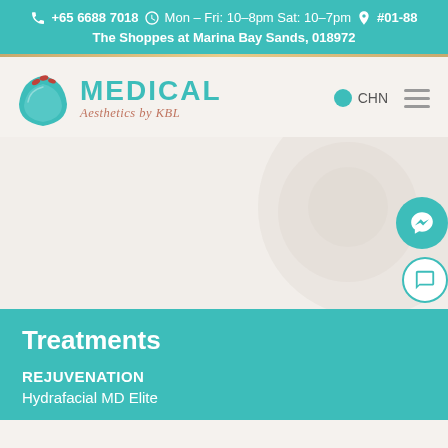+65 6688 7018  Mon – Fri: 10–8pm Sat: 10–7pm  #01-88 The Shoppes at Marina Bay Sands, 018972
[Figure (logo): Medical Aesthetics by KBL logo — teal leaf/bowl icon with red dots, teal MEDICAL text and terracotta italic Aesthetics by KBL]
CHN
[Figure (infographic): Light beige hero background area with subtle decorative circular shapes]
[Figure (other): Teal circular chat/messenger button and outline chat button on right side]
Treatments
REJUVENATION
Hydrafacial MD Elite